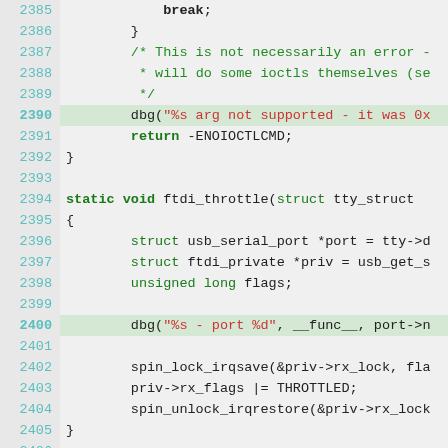[Figure (screenshot): Source code listing of C code for ftdi_throttle and ftdi_unthrottle functions, lines 2385-2414, with syntax highlighting. Line numbers in teal on left, keywords in bold green, string literals in red.]